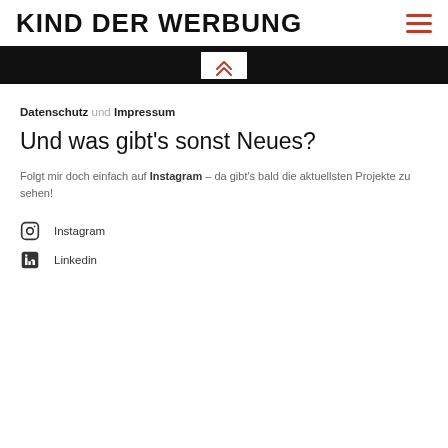KIND DER WERBUNG
[Figure (other): Black banner with chevron/double-arrow up icon in center on white background]
Datenschutz und Impressum
Und was gibt's sonst Neues?
Folgt mir doch einfach auf Instagram – da gibt's bald die aktuellsten Projekte zu sehen!
Instagram
Linkedin